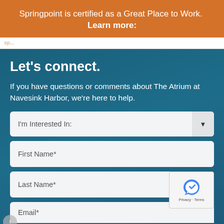Springpoint is certified as a Great Place to Work. Learn more:
Let's connect.
If you have questions or comments about The Atrium at Navesink Harbor, we're here to help.
I'm Interested In:
First Name*
Last Name*
Email*